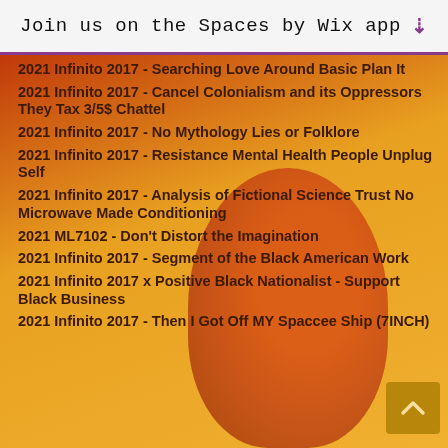Join us on the Spaces by Wix app
2021 Infinito 2017 - Searching Love Around Basic Plan It
2021 Infinito 2017 - Cancel Colonialism and its Oppressors They Tax 3/5$ Chattel
2021 Infinito 2017 - No Mythology Lies or Folklore
2021 Infinito 2017 - Resistance Mental Health People Unplug Self
2021 Infinito 2017 - Analysis of Fictional Science Trust No Microwave Made Conditioning
2021 ML7102 - Don't Distort the Imagination
2021 Infinito 2017 - Segment of the Black American Work
2021 Infinito 2017 x Positive Black Nationalist - Support Black Business
2021 Infinito 2017 - Then I Got Off MY Spaccee Ship (7INCH)